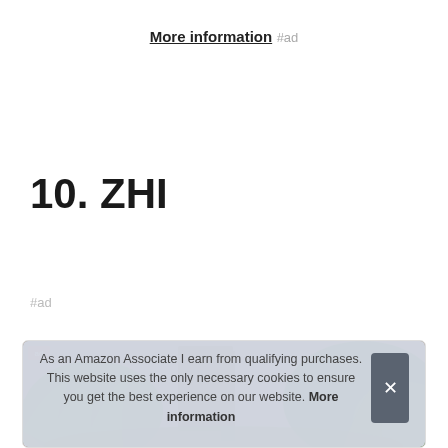More information #ad
10. ZHI
#ad
[Figure (photo): A garden scene with tropical plants, bamboo-like foliage, and a brick wall with a wooden door/gate in the background.]
As an Amazon Associate I earn from qualifying purchases. This website uses the only necessary cookies to ensure you get the best experience on our website. More information